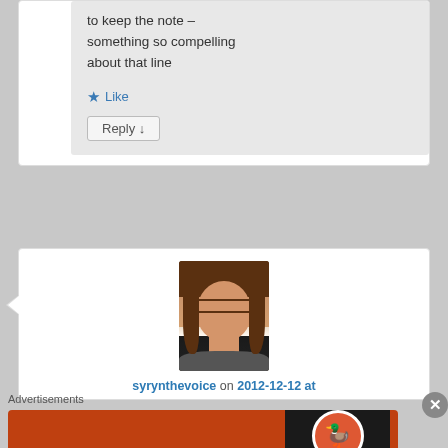to keep the note – something so compelling about that line
★ Like
Reply ↓
[Figure (photo): Profile photo of user syrynthevoice – woman with long hair and glasses]
syrynthevoice on 2012-12-12 at
Advertisements
[Figure (infographic): DuckDuckGo advertisement banner: 'Search, browse, and email with more privacy. All in One Free App' with DuckDuckGo logo and phone image on orange background]